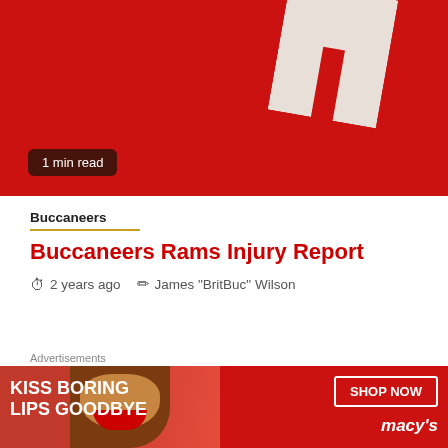[Figure (photo): Hero image with red background and white T-shaped letter/logo, with '1 min read' badge overlay]
Buccaneers
Buccaneers Rams Injury Report
2 years ago   James "BritBuc" Wilson
[Figure (screenshot): Dark gray video placeholder with red bar and close button]
Advertisements
[Figure (photo): Macy's advertisement banner: KISS BORING LIPS GOODBYE with SHOP NOW button and Macy's star logo]